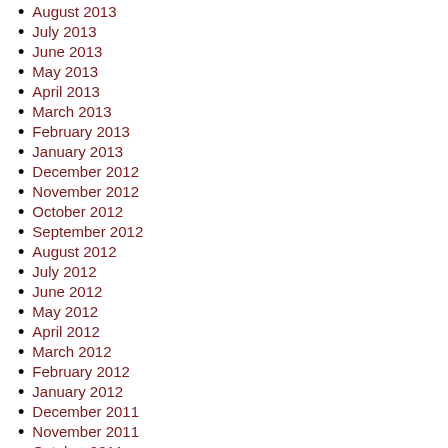August 2013
July 2013
June 2013
May 2013
April 2013
March 2013
February 2013
January 2013
December 2012
November 2012
October 2012
September 2012
August 2012
July 2012
June 2012
May 2012
April 2012
March 2012
February 2012
January 2012
December 2011
November 2011
October 2011